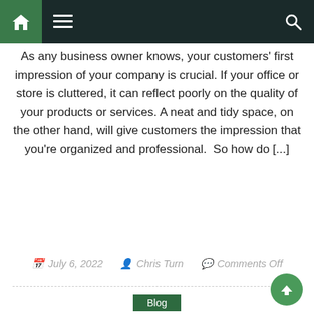Navigation bar with home, menu, and search icons
As any business owner knows, your customers' first impression of your company is crucial. If your office or store is cluttered, it can reflect poorly on the quality of your products or services. A neat and tidy space, on the other hand, will give customers the impression that you're organized and professional.  So how do [...]
July 6, 2022  Chris Turn  Comments Off
Blog
Are Hacker's Brave Enough to Attack Law Firms: How to Keep Your Data Safe
Success in the legal field depends on organization, attention to detail, and a bit of luck. But keeping your data safe